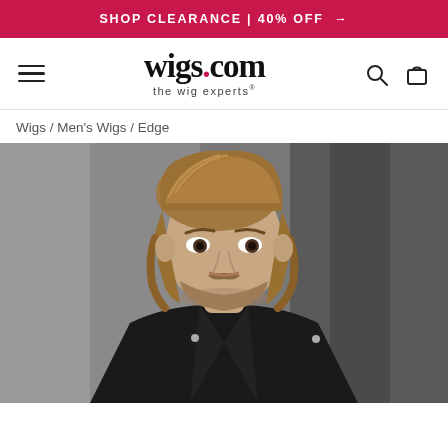SHOP CLEARANCE | 40% OFF →
[Figure (logo): wigs.com — the wig experts logo with hamburger menu, search, and cart icons]
Wigs / Men's Wigs / Edge
[Figure (photo): Male model wearing a medium-length sandy blonde men's wig, styled back, wearing a black leather jacket, photographed against a dark grey textured background.]